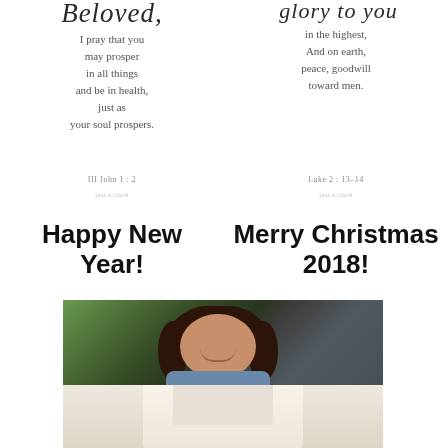[Figure (illustration): Decorative scripture card with cursive title 'Beloved,' and verse text 'I pray that you may prosper in all things and be in health, just as your soul prospers.' with reference III John 1 : 2 and watermark 'just a cinch']
[Figure (illustration): Decorative scripture card with cursive title 'glory to you' and verse text 'in the highest, And on earth, peace, goodwill toward men.' with reference Luke 2 : 13-14 and watermark 'just a cinch']
Happy New Year!
Merry Christmas 2018!
[Figure (photo): Photo of a smiling woman with long dark brown hair, wearing a blue/grey top, with greenery in the background. Bottom portion shows a lighter, possibly outdoor setting.]